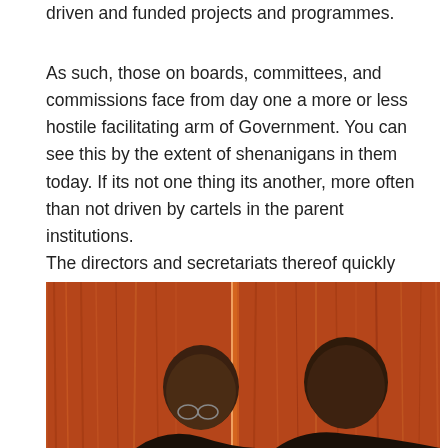driven and funded projects and programmes.
As such, those on boards, committees, and commissions face from day one a more or less hostile facilitating arm of Government. You can see this by the extent of shenanigans in them today. If its not one thing its another, more often than not driven by cartels in the parent institutions. The directors and secretariats thereof quickly resort to underhand means to demonstrate, stamp their ‘authority’ on the programmes and projects in an anticipated turf war to control the funds.
[Figure (photo): Two men seated in front of a wooden/orange background, appearing to be at an official meeting or hearing. Both are of African descent, one wearing glasses.]